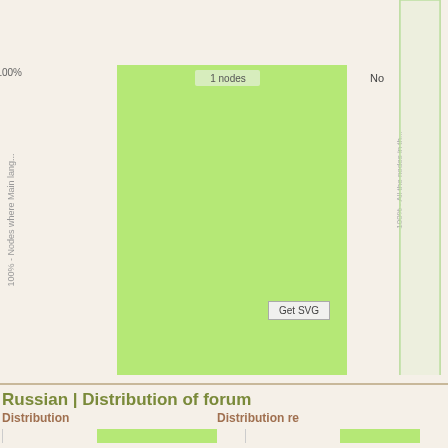[Figure (bar-chart): Left chart showing 100% bar (1 nodes) for 'No' category, green bar filling almost full height]
[Figure (bar-chart): Right partial chart showing two bars, top bar at 100% and bottom bar at 1%, light green outline style]
Russian | Distribution of forum
Distribution
Distribution re